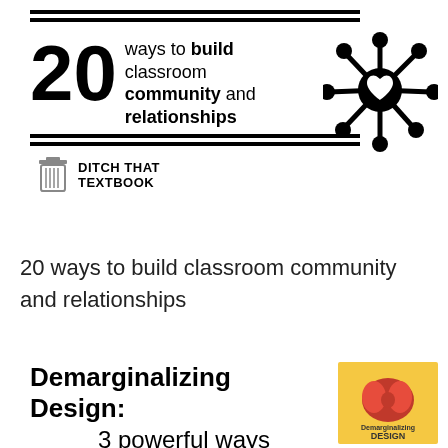[Figure (infographic): 20 ways to build classroom community and relationships - infographic with large '20', title text, network/community icon with heart center, double horizontal lines, and Ditch That Textbook brand logo]
20 ways to build classroom community and relationships
[Figure (infographic): Demarginalizing Design: 3 powerful ways - bold title text with a book cover image showing a brain illustration and 'Demarginalizing DESIGN' text on yellow background]